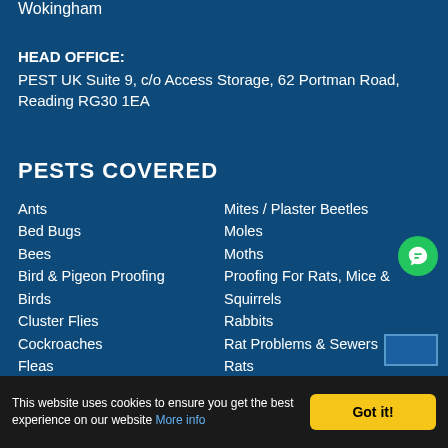Wokingham
HEAD OFFICE:
PEST UK Suite 9, c/o Access Storage, 62 Portman Road, Reading RG30 1EA
PESTS COVERED
Ants
Bed Bugs
Bees
Bird & Pigeon Proofing
Birds
Cluster Flies
Cockroaches
Fleas
Flies
Foxes
Glis Glis
Mites / Plaster Beetles
Moles
Moths
Proofing For Rats, Mice & Squirrels
Rabbits
Rat Problems & Sewers
Rats
Solar Panel Bird Proofing
Spiders
Squirrels
This website uses cookies to ensure you get the best experience on our website More info
Got it!